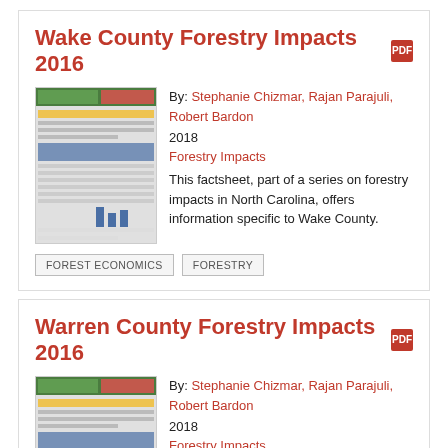Wake County Forestry Impacts 2016
By: Stephanie Chizmar, Rajan Parajuli, Robert Bardon
2018
Forestry Impacts
This factsheet, part of a series on forestry impacts in North Carolina, offers information specific to Wake County.
FOREST ECONOMICS
FORESTRY
Warren County Forestry Impacts 2016
By: Stephanie Chizmar, Rajan Parajuli, Robert Bardon
2018
Forestry Impacts
This factsheet, part of a series on forestry impacts in North Carolina, offers information specific to